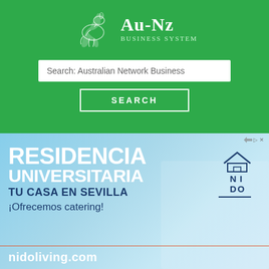[Figure (logo): AU-NZ Business System logo with kangaroo silhouette and text 'Au-Nz Business System' on green background]
Search: Australian Network Business
SEARCH
[Figure (infographic): Advertisement banner with light blue background showing 'RESIDENCIA UNIVERSITARIA TU CASA EN SEVILLA ¡Ofrecemos catering! nidoliving.com' with Nido living logo (house icon with NI DO text)]